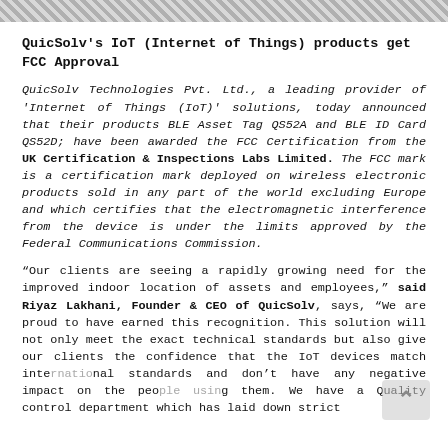[Figure (illustration): Decorative diagonal crosshatch pattern border at the top of the page]
QuicSolv's IoT (Internet of Things) products get FCC Approval
QuicSolv Technologies Pvt. Ltd., a leading provider of 'Internet of Things (IoT)' solutions, today announced that their products BLE Asset Tag QS52A and BLE ID Card QS52D; have been awarded the FCC Certification from the UK Certification & Inspections Labs Limited. The FCC mark is a certification mark deployed on wireless electronic products sold in any part of the world excluding Europe and which certifies that the electromagnetic interference from the device is under the limits approved by the Federal Communications Commission.
“Our clients are seeing a rapidly growing need for the improved indoor location of assets and employees,” said Riyaz Lakhani, Founder & CEO of QuicSolv, says, “We are proud to have earned this recognition. This solution will not only meet the exact technical standards but also give our clients the confidence that the IoT devices match international standards and don’t have any negative impact on the people using them. We have a Quality control department which has laid down strict